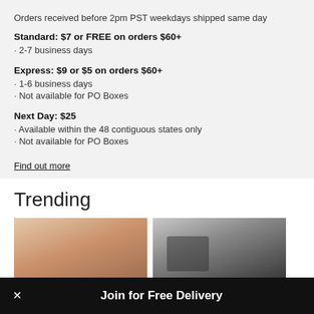Orders received before 2pm PST weekdays shipped same day
Standard: $7 or FREE on orders $60+
2-7 business days
Express: $9 or $5 on orders $60+
1-6 business days
Not available for PO Boxes
Next Day: $25
Available within the 48 contiguous states only
Not available for PO Boxes
Find out more
Trending
[Figure (photo): Two photos side by side: left shows a woman's face/hair, right shows a child in a dark hoodie]
Join for Free Delivery